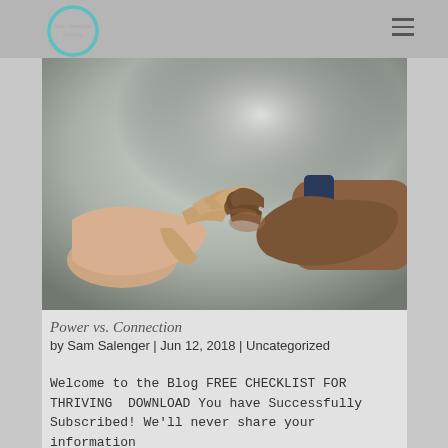Sam Salenger Coaching — navigation bar with logo and hamburger menu
[Figure (photo): Two hands reaching toward each other and gently clasping; one lighter-skinned hand from the left and one darker-skinned hand from the right wearing a blue watch. Blurred grey/green background. Black and white photo tones with warm hand tones.]
Power vs. Connection
by Sam Salenger | Jun 12, 2018 | Uncategorized
Welcome to the Blog FREE CHECKLIST FOR THRIVING  DOWNLOAD You have Successfully Subscribed! We'll never share your information